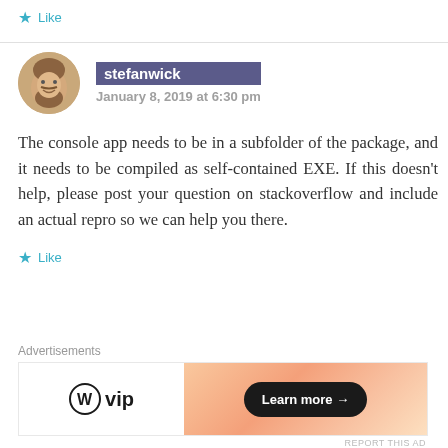Like
stefanwick
January 8, 2019 at 6:30 pm
The console app needs to be in a subfolder of the package, and it needs to be compiled as self-contained EXE. If this doesn't help, please post your question on stackoverflow and include an actual repro so we can help you there.
Like
Advertisements
[Figure (illustration): WordPress VIP advertisement banner with 'Learn more →' button on an orange gradient background]